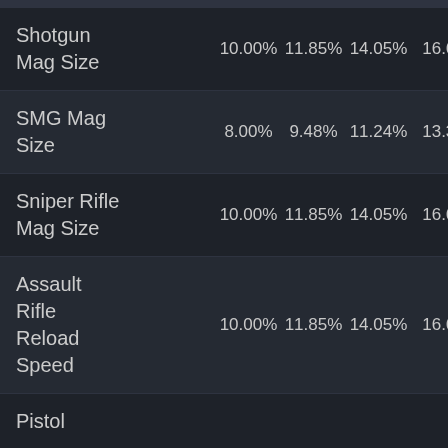| Attribute | Col1 | Col2 | Col3 | Col4 |
| --- | --- | --- | --- | --- |
| Shotgun Mag Size | 10.00% | 11.85% | 14.05% | 16.67 |
| SMG Mag Size | 8.00% | 9.48% | 11.24% | 13.33 |
| Sniper Rifle Mag Size | 10.00% | 11.85% | 14.05% | 16.67 |
| Assault Rifle Reload Speed | 10.00% | 11.85% | 14.05% | 16.67 |
| Pistol |  |  |  |  |